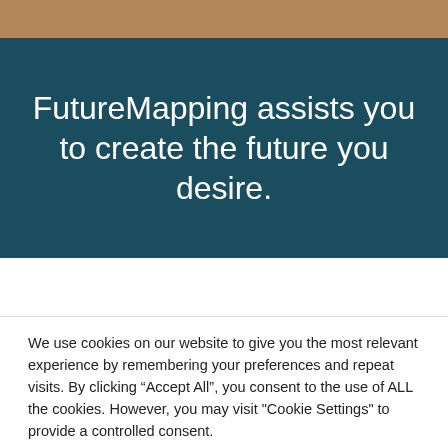[Figure (other): Sandy/kraft-colored top banner with a downward-pointing notch/chevron at center bottom]
FutureMapping assists you to create the future you desire.
We use cookies on our website to give you the most relevant experience by remembering your preferences and repeat visits. By clicking “Accept All”, you consent to the use of ALL the cookies. However, you may visit "Cookie Settings" to provide a controlled consent.
Cookie Settings   Accept All